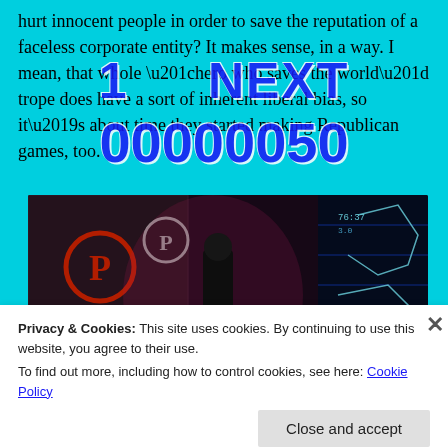hurt innocent people in order to save the reputation of a faceless corporate entity? It makes sense, in a way. I mean, that whole “hero who saves the world” trope does have a sort of inherent liberal bias, so it’s about time they started making Republican games, too.
[Figure (screenshot): Screenshot from a dark video game showing a parking garage with neon signs, a figure in the shadows, and blue glowing interface elements on the right side.]
Privacy & Cookies: This site uses cookies. By continuing to use this website, you agree to their use.
To find out more, including how to control cookies, see here: Cookie Policy